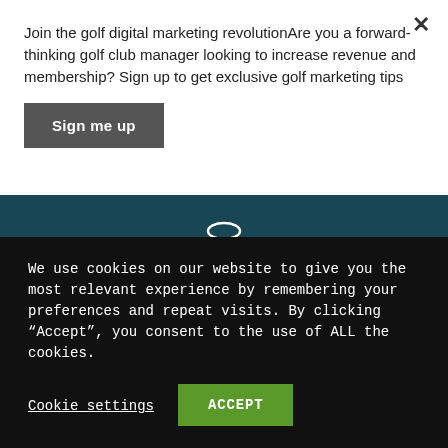Join the golf digital marketing revolutionAre you a forward-thinking golf club manager looking to increase revenue and membership? Sign up to get exclusive golf marketing tips
Sign me up
[Figure (illustration): Dark teal/blue background hero image with a white line-art icon of a money bag with a pound (£) symbol, coins and a banknote with a percent sign.]
We use cookies on our website to give you the most relevant experience by remembering your preferences and repeat visits. By clicking "Accept", you consent to the use of ALL the cookies.
Cookie settings
ACCEPT